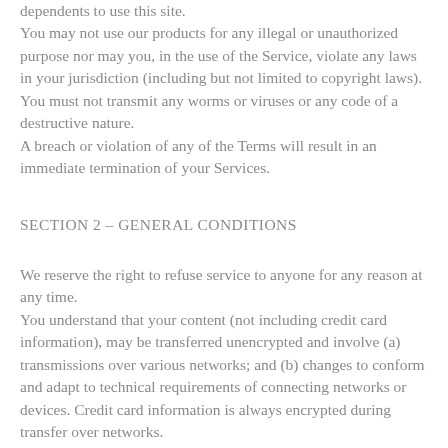dependents to use this site. You may not use our products for any illegal or unauthorized purpose nor may you, in the use of the Service, violate any laws in your jurisdiction (including but not limited to copyright laws). You must not transmit any worms or viruses or any code of a destructive nature. A breach or violation of any of the Terms will result in an immediate termination of your Services.
SECTION 2 - GENERAL CONDITIONS
We reserve the right to refuse service to anyone for any reason at any time. You understand that your content (not including credit card information), may be transferred unencrypted and involve (a) transmissions over various networks; and (b) changes to conform and adapt to technical requirements of connecting networks or devices. Credit card information is always encrypted during transfer over networks.